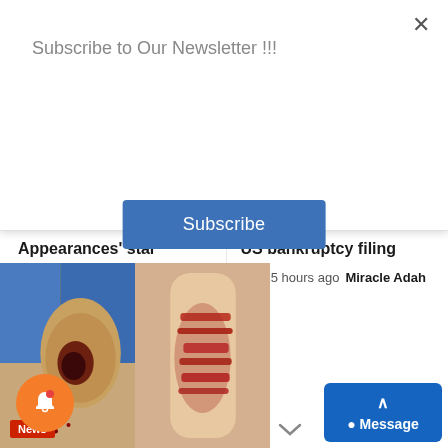Subscribe to Our Newsletter !!!
Subscribe
Appearances' star Josephine Tewson dies age 91
11 hours ago  Miracle Adah
US bankruptcy filing
15 hours ago  Miracle Adah
[Figure (photo): Two medical/injury photographs side by side showing wounds on skin/body parts]
News